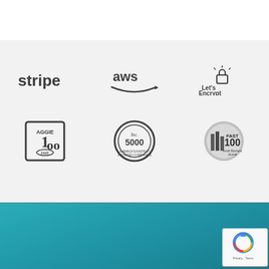[Figure (logo): Stripe logo (text) - grayscale]
[Figure (logo): AWS (Amazon Web Services) logo - grayscale]
[Figure (logo): Let's Encrypt logo - grayscale]
[Figure (logo): Aggie 100 badge - grayscale circular badge]
[Figure (logo): Inc. 5000 badge - grayscale circular badge]
[Figure (logo): Fast 100 badge - grayscale circular badge]
PLATFORM
Platform Features
Themes
Pricing
Open Source AMS
[Figure (illustration): Contact Us circular button with dog illustration (French Bulldog)]
[Figure (logo): reCAPTCHA badge with Privacy and Terms links]